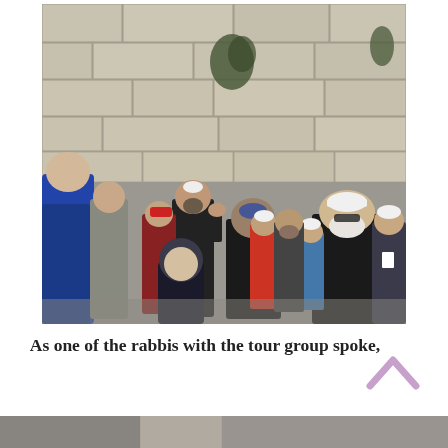[Figure (photo): A group of people standing in front of the Western Wall (Kotel) in Jerusalem. Many are wearing white caps or kippot. A man in a black jacket with a beard gestures while speaking to another man in a beige jacket. A child in a dark hoodie stands nearby. An older man with a white baseball cap and white beard stands to the right. The massive stone blocks of the Western Wall fill the background.]
As one of the rabbis with the tour group spoke,